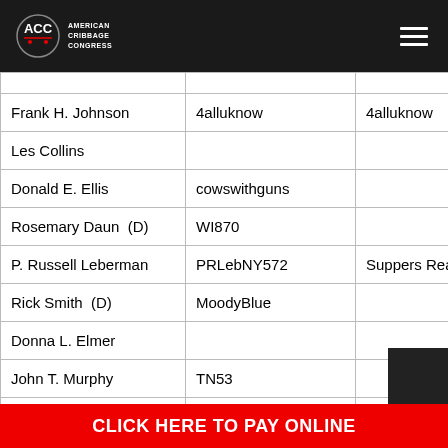American Cribbage Congress
| Name | Username |  |
| --- | --- | --- |
| Frank H. Johnson | 4alluknow | 4alluknow |
| Les Collins |  |  |
| Donald E. Ellis | cowswithguns |  |
| Rosemary Daun  (D) | WI870 |  |
| P. Russell Leberman | PRLebNY572 | Suppers Rea |
| Rick Smith  (D) | MoodyBlue |  |
| Donna L. Elmer |  |  |
| John T. Murphy | TN53 |  |
| Deborsha Lashway | Deborsha |  |
| Naomi Bennett |  |  |
| Rick Kimberlin | 8trick | 8trick |
| Michael D. Green | wilbergee | go |
CLICK HERE TO PAY ONLINE